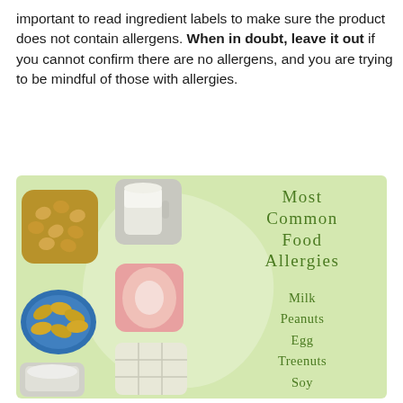important to read ingredient labels to make sure the product does not contain allergens. When in doubt, leave it out if you cannot confirm there are no allergens, and you are trying to be mindful of those with allergies.
[Figure (infographic): Infographic on light green background showing food photos (peanuts, milk glass, almonds on blue plate, egg in pink dish, tofu cubes, flour) on the left, and on the right: title 'Most Common Food Allergies' with a list: Milk, Peanuts, Egg, Treenuts, Soy, Wheat, (more cut off).]